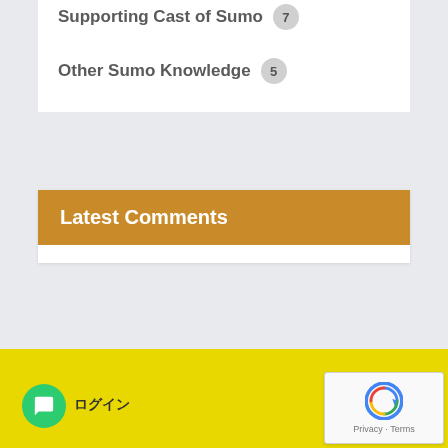Supporting Cast of Sumo  7
Other Sumo Knowledge  5
Latest Comments
[Figure (screenshot): reCAPTCHA widget with logo and Privacy/Terms links]
[Figure (other): Green chat bubble button icon]